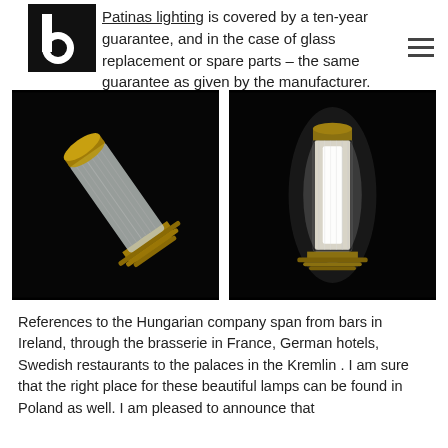Patinas lighting is covered by a ten-year guarantee, and in the case of glass replacement or spare parts – the same guarantee as given by the manufacturer.
[Figure (photo): Two photos of a ribbed glass cylindrical lamp fixture. Left photo shows the lamp unlit against a black background, tilted at an angle, revealing brass/gold hardware. Right photo shows the same lamp illuminated, glowing bright white, mounted vertically against a black background.]
References to the Hungarian company span from bars in Ireland, through the brasserie in France, German hotels, Swedish restaurants to the palaces in the Kremlin . I am sure that the right place for these beautiful lamps can be found in Poland as well. I am pleased to announce that